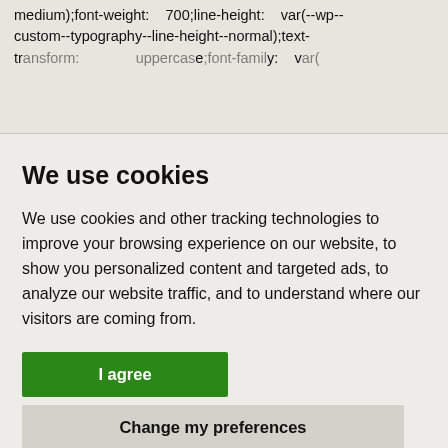medium);font-weight: 700;line-height: var(--wp--custom--typography--line-height--normal);text-transform: uppercase;font-family: var(
We use cookies
We use cookies and other tracking technologies to improve your browsing experience on our website, to show you personalized content and targeted ads, to analyze our website traffic, and to understand where our visitors are coming from.
I agree
Change my preferences